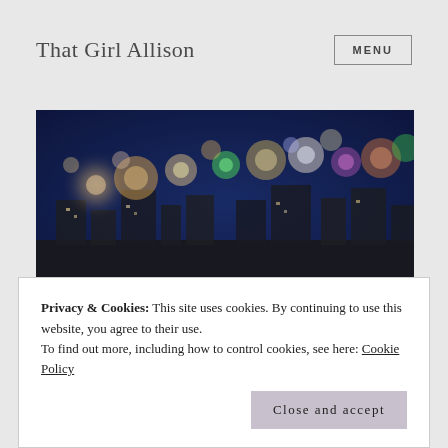That Girl Allison
[Figure (photo): Blurred cityscape at night with colorful bokeh lights — blues, oranges, greens — against a dark blue sky.]
Tag: tsa requirements
Privacy & Cookies: This site uses cookies. By continuing to use this website, you agree to their use.
To find out more, including how to control cookies, see here: Cookie Policy
Surrender